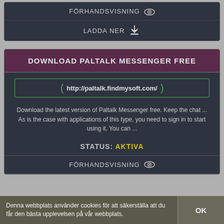FÖRHANDSVISNING
LADDA NER
DOWNLOAD PALTALK MESSENGER FREE
http://paltalk.findmysoft.com/
Download the latest version of Paltalk Messenger free. Keep the chat ... As is the case with applications of this type, you need to sign in to start using it. You can ...
STATUS: AKTIVA
FÖRHANDSVISNING
Denna webbplats använder cookies för att säkerställa att du får den bästa upplevelsen på vår webbplats.
OK